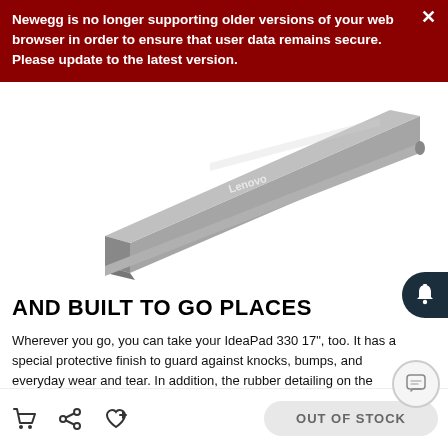Newegg is no longer supporting older versions of your web browser in order to ensure that user data remains secure. Please update to the latest version.
[Figure (photo): Lenovo IdeaPad 330 17 inch laptop closed, silver/gray color, viewed from a side angle showing the lid and bottom edge]
AND BUILT TO GO PLACES
Wherever you go, you can take your IdeaPad 330 17", too. It has a special protective finish to guard against knocks, bumps, and everyday wear and tear. In addition, the rubber detailing on the bottom helps to maximize ventilation and extend component life.
OUT OF STOCK